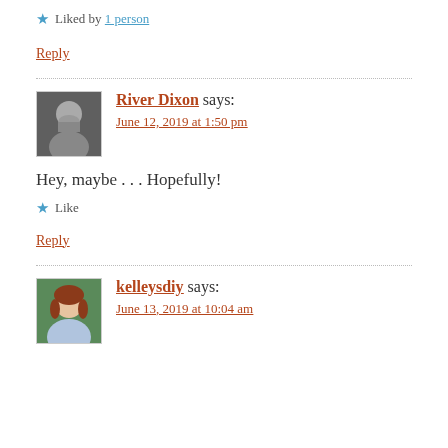Liked by 1 person
Reply
River Dixon says:
June 12, 2019 at 1:50 pm
Hey, maybe . . . Hopefully!
Like
Reply
kelleysdiy says:
June 13, 2019 at 10:04 am